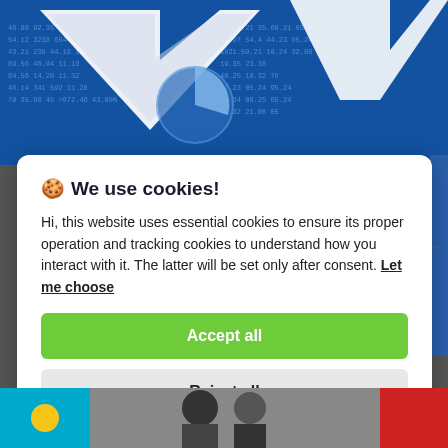[Figure (photo): Blue financial stock market background with downward trending arrows/charts and numbers, suggesting a market decline.]
🍪 We use cookies!
Hi, this website uses essential cookies to ensure its proper operation and tracking cookies to understand how you interact with it. The latter will be set only after consent. Let me choose
Accept all
Reject all
[Figure (photo): Bottom strip showing flags and people, partially visible.]